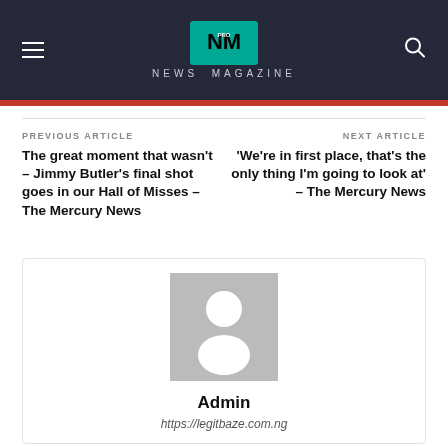NEWS MAGAZINE
PREVIOUS ARTICLE
The great moment that wasn't – Jimmy Butler's final shot goes in our Hall of Misses – The Mercury News
NEXT ARTICLE
'We're in first place, that's the only thing I'm going to look at' – The Mercury News
[Figure (illustration): Default user avatar placeholder — grey square with white silhouette of a person]
Admin
https://legitbaze.com.ng